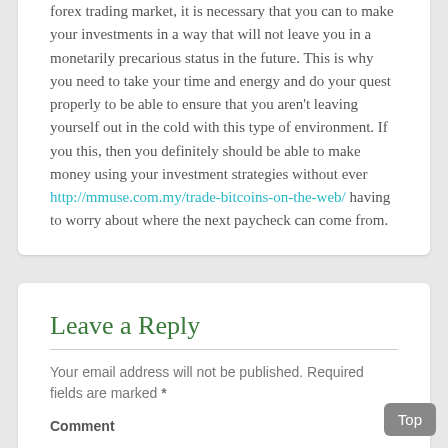forex trading market, it is necessary that you can to make your investments in a way that will not leave you in a monetarily precarious status in the future. This is why you need to take your time and energy and do your quest properly to be able to ensure that you aren't leaving yourself out in the cold with this type of environment. If you this, then you definitely should be able to make money using your investment strategies without ever http://mmuse.com.my/trade-bitcoins-on-the-web/ having to worry about where the next paycheck can come from.
Leave a Reply
Your email address will not be published. Required fields are marked *
Comment